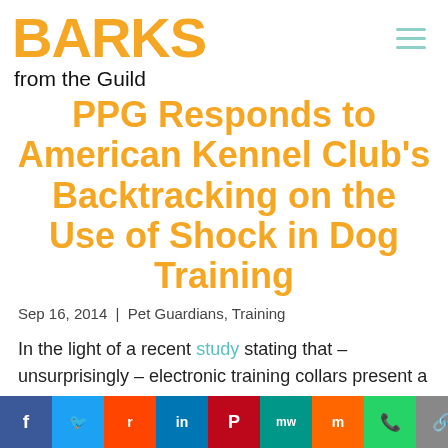BARKS from the Guild
PPG Responds to American Kennel Club's Backtracking on the Use of Shock in Dog Training
Sep 16, 2014 | Pet Guardians, Training
In the light of a recent study stating that – unsurprisingly – electronic training collars present a welfare risk to pet
f  Twitter  Reddit  in  Pinterest  mw  m  WhatsApp  link  Tweet  share